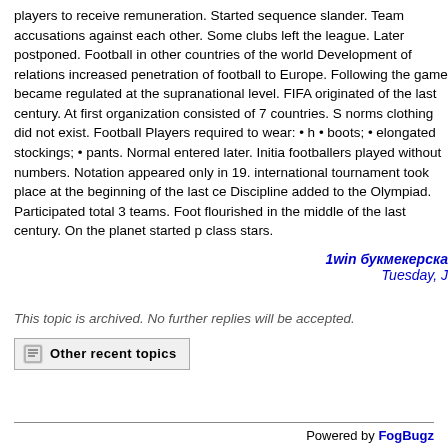players to receive remuneration. Started sequence slander. Team accusations against each other. Some clubs left the league. Later postponed. Football in other countries of the world Development of relations increased penetration of football to Europe. Following the game became regulated at the supranational level. FIFA originated of the last century. At first organization consisted of 7 countries. S norms clothing did not exist. Football Players required to wear: • h • boots; • elongated stockings; • pants. Normal entered later. Initia footballers played without numbers. Notation appeared only in 19. international tournament took place at the beginning of the last ce Discipline added to the Olympiad. Participated total 3 teams. Foot flourished in the middle of the last century. On the planet started p class stars.
1win букмекерска
Tuesday,
This topic is archived. No further replies will be accepted.
Other recent topics
Powered by FogBugz